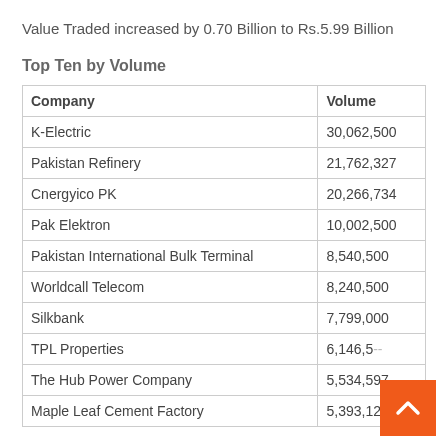Value Traded increased by 0.70 Billion to Rs.5.99 Billion
Top Ten by Volume
| Company | Volume |
| --- | --- |
| K-Electric | 30,062,500 |
| Pakistan Refinery | 21,762,327 |
| Cnergyico PK | 20,266,734 |
| Pak Elektron | 10,002,500 |
| Pakistan International Bulk Terminal | 8,540,500 |
| Worldcall Telecom | 8,240,500 |
| Silkbank | 7,799,000 |
| TPL Properties | 6,146,5-- |
| The Hub Power Company | 5,534,597 |
| Maple Leaf Cement Factory | 5,393,129 |